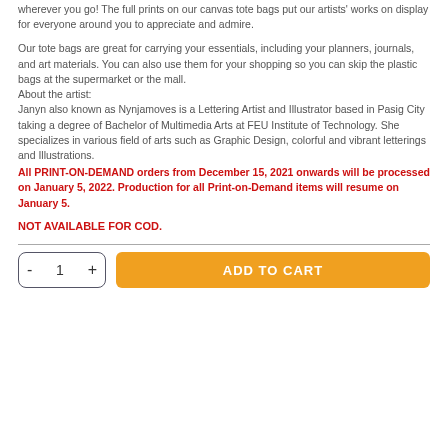wherever you go! The full prints on our canvas tote bags put our artists' works on display for everyone around you to appreciate and admire.
Our tote bags are great for carrying your essentials, including your planners, journals, and art materials. You can also use them for your shopping so you can skip the plastic bags at the supermarket or the mall.
About the artist:
Janyn also known as Nynjamoves is a Lettering Artist and Illustrator based in Pasig City taking a degree of Bachelor of Multimedia Arts at FEU Institute of Technology. She specializes in various field of arts such as Graphic Design, colorful and vibrant letterings and Illustrations.
All PRINT-ON-DEMAND orders from December 15, 2021 onwards will be processed on January 5, 2022. Production for all Print-on-Demand items will resume on January 5.
NOT AVAILABLE FOR COD.